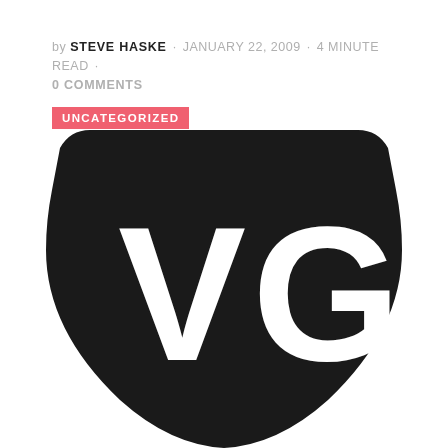by STEVE HASKE · JANUARY 22, 2009 · 4 MINUTE READ · 0 COMMENTS
UNCATEGORIZED
[Figure (logo): VG shield logo — a black shield shape with large white letters V and G]